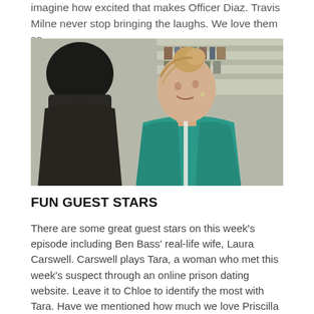imagine how excited that makes Officer Diaz. Travis Milne never stop bringing the laughs. We love them so.
[Figure (photo): Two women facing each other in conversation. The woman on the right has blonde hair in a bun and is wearing a teal top. The background appears to be a library or office setting.]
FUN GUEST STARS
There are some great guest stars on this week's episode including Ben Bass' real-life wife, Laura Carswell. Carswell plays Tara, a woman who met this week's suspect through an online prison dating website. Leave it to Chloe to identify the most with Tara. Have we mentioned how much we love Priscilla Faia? Fans of Remedy will also recognize Tony Nappa, who played Dr. Sam Guerra on the now cancelled medical drama